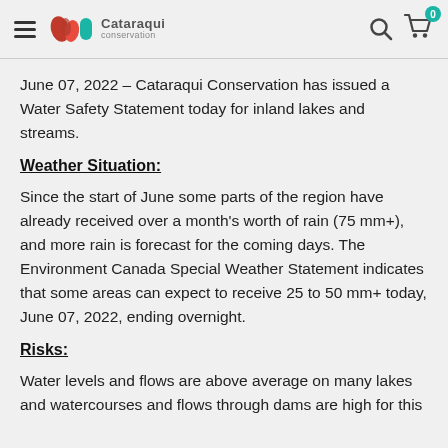Cataraqui Conservation — navigation header with hamburger menu, logo, search icon, and cart
June 07, 2022  – Cataraqui Conservation has issued a Water Safety Statement today for inland lakes and streams.
Weather Situation:
Since the start of June some parts of the region have already received over a month's worth of rain (75 mm+), and more rain is forecast for the coming days. The Environment Canada Special Weather Statement indicates that some areas can expect to receive 25 to 50 mm+ today, June 07, 2022, ending overnight.
Risks:
Water levels and flows are above average on many lakes and watercourses and flows through dams are high for this